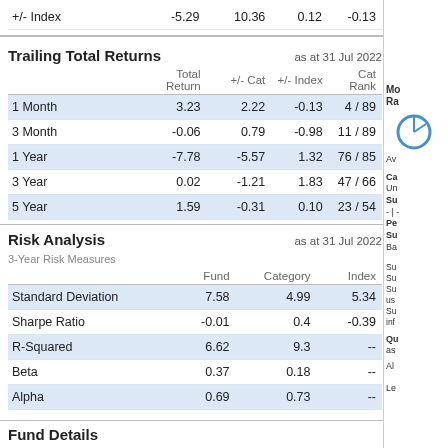| +/- Index |  |  |  |  |
| --- | --- | --- | --- | --- |
| +/- Index | -5.29 | 10.36 | 0.12 | -0.13 |
Trailing Total Returns
as at 31 Jul 2022
|  | Total Return | +/- Cat | +/- Index | Cat Rank |
| --- | --- | --- | --- | --- |
| 1 Month | 3.23 | 2.22 | -0.13 | 4 / 89 |
| 3 Month | -0.06 | 0.79 | -0.98 | 11 / 89 |
| 1 Year | -7.78 | -5.57 | 1.32 | 76 / 85 |
| 3 Year | 0.02 | -1.21 | 1.83 | 47 / 66 |
| 5 Year | 1.59 | -0.31 | 0.10 | 23 / 54 |
Risk Analysis
as at 31 Jul 2022
3-Year Risk Measures
|  | Fund | Category | Index |
| --- | --- | --- | --- |
| Standard Deviation | 7.58 | 4.99 | 5.34 |
| Sharpe Ratio | -0.01 | 0.4 | -0.39 |
| R-Squared | 6.62 | 9.3 | -- |
| Beta | 0.37 | 0.18 | -- |
| Alpha | 0.69 | 0.73 | -- |
Fund Details